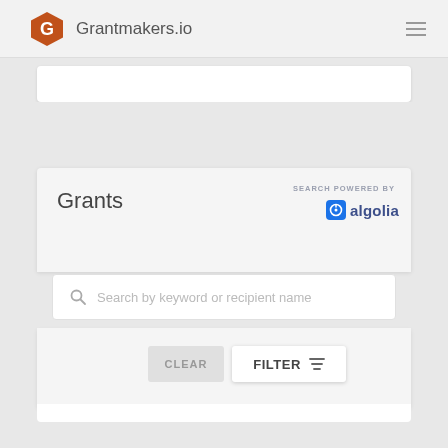Grantmakers.io
[Figure (logo): Orange hexagon logo with white letter G]
SEARCH POWERED BY
[Figure (logo): Algolia logo with blue clock icon and text algolia]
Grants
Search by keyword or recipient name
CLEAR
FILTER